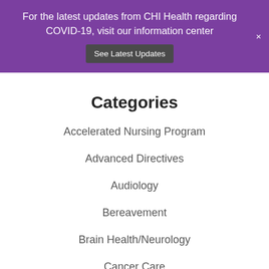For the latest updates from CHI Health regarding COVID-19, visit our information center  See Latest Updates
Categories
Accelerated Nursing Program
Advanced Directives
Audiology
Bereavement
Brain Health/Neurology
Cancer Care
Community Benefit
Coronavirus